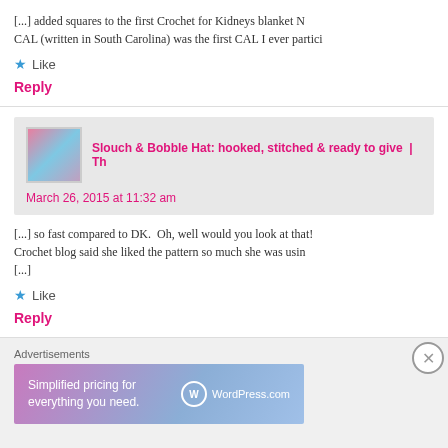[...] added squares to the first Crochet for Kidneys blanket Na CAL (written in South Carolina) was the first CAL I ever partici
Like
Reply
Slouch & Bobble Hat: hooked, stitched & ready to give  | Th
March 26, 2015 at 11:32 am
[...] so fast compared to DK.  Oh, well would you look at that! Crochet blog said she liked the pattern so much she was usin [...]
Like
Reply
Advertisements
[Figure (screenshot): WordPress.com advertisement banner: 'Simplified pricing for everything you need.' with WordPress.com logo]